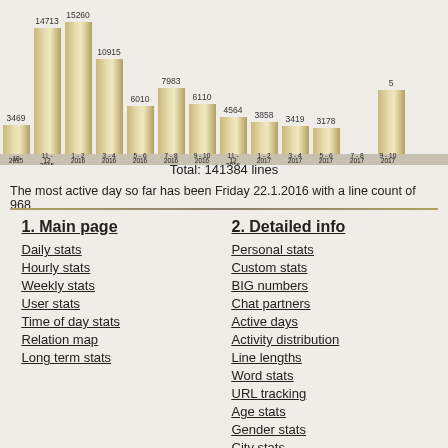[Figure (bar-chart): Lines per period]
Total: 141384 lines
The most active day so far has been Friday 22.1.2016 with a line count of 968
1. Main page
2. Detailed info
Daily stats
Personal stats
Hourly stats
Custom stats
Weekly stats
BIG numbers
User stats
Chat partners
Time of day stats
Active days
Relation map
Activity distribution
Long term stats
Line lengths
Word stats
URL tracking
Age stats
Gender stats
City stats